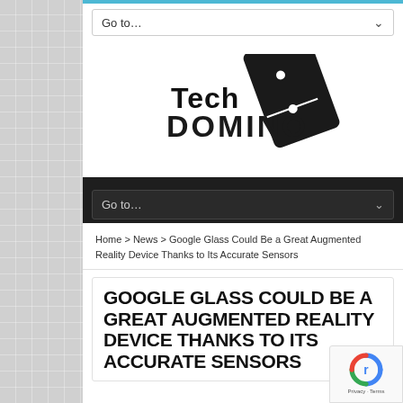Go to...
[Figure (logo): Tech Domino logo with domino tile graphic]
Go to...
Home > News > Google Glass Could Be a Great Augmented Reality Device Thanks to Its Accurate Sensors
GOOGLE GLASS COULD BE A GREAT AUGMENTED REALITY DEVICE THANKS TO ITS ACCURATE SENSORS